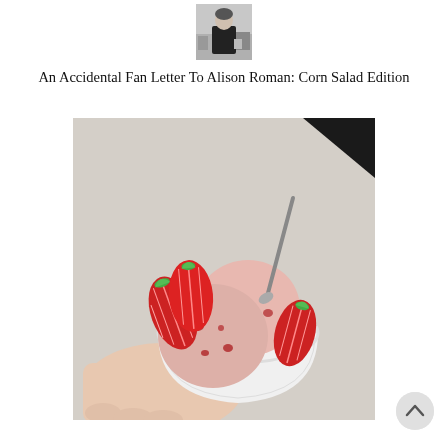[Figure (photo): Black and white portrait photo of a person (Alison Roman) standing in a kitchen, wearing a black t-shirt]
An Accidental Fan Letter To Alison Roman: Corn Salad Edition
[Figure (photo): Color photo of a hand holding a white bowl of strawberry ice cream scoops garnished with sliced strawberries and a spoon]
[Figure (other): Circular scroll-to-top button with an upward chevron arrow]